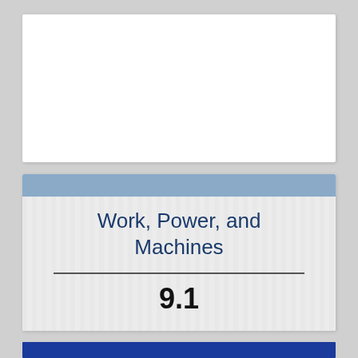[Figure (other): White blank card/slide placeholder at the top of the page]
Work, Power, and Machines
9.1
[Figure (other): Blue horizontal bar at the bottom of the page]